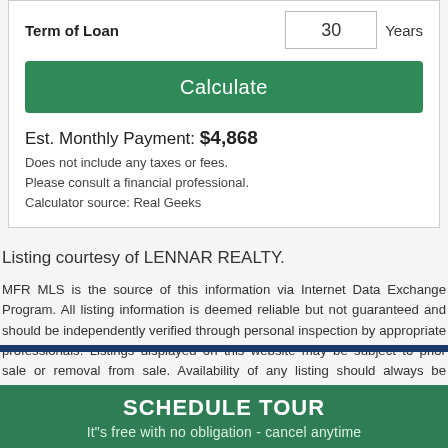| Term of Loan |  |  |
| --- | --- | --- |
| Term of Loan | 30 | Years |
Calculate
Est. Monthly Payment: $4,868
Does not include any taxes or fees.
Please consult a financial professional.
Calculator source: Real Geeks
Listing courtesy of LENNAR REALTY.
MFR MLS is the source of this information via Internet Data Exchange Program. All listing information is deemed reliable but not guaranteed and should be independently verified through personal inspection by appropriate professionals. Listings displayed on this website may be subject to prior sale or removal from sale. Availability of any listing should always be independently verified. Listing information is provided for consumer personal, non-commercial use, solely to identify potential properties for potential purchase. All other use is strictly prohibited and may violate relevant federal and state law. Data last updated on 2022-08-24 at 8:53 am
SCHEDULE TOUR
It"s free with no obligation - cancel anytime